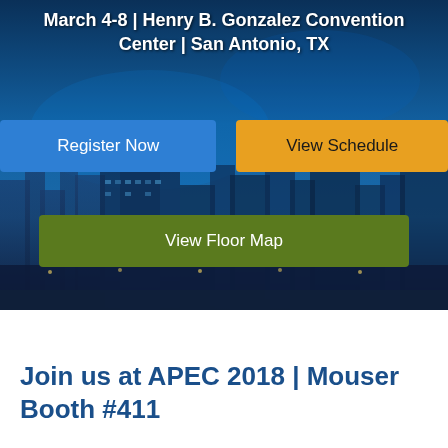[Figure (photo): Aerial night photograph of San Antonio city skyline with blue-tinted overlay, showing convention center and city buildings with lights]
March 4-8 | Henry B. Gonzalez Convention Center | San Antonio, TX
Register Now
View Schedule
View Floor Map
Join us at APEC 2018 | Mouser Booth #411